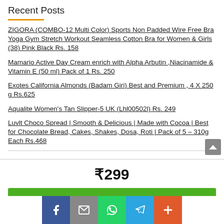Recent Posts
ZIGORA (COMBO-12 Multi Color) Sports Non Padded Wire Free Bra Yoga Gym Stretch Workout Seamless Cotton Bra for Women & Girls (38) Pink Black Rs. 158
Mamario Active Day Cream enrich with Alpha Arbutin ,Niacinamide & Vitamin E (50 ml) Pack of 1 Rs. 250
Exotes California Almonds (Badam Giri) Best and Premium , 4 X 250 g Rs.625
Aqualite Women's Tan Slipper-5 UK (Lhl00502l) Rs. 249
Luvlt Choco Spread | Smooth & Delicious | Made with Cocoa | Best for Chocolate Bread, Cakes, Shakes, Dosa, Roti | Pack of 5 – 310g Each Rs.468
₹299
BUY NOW